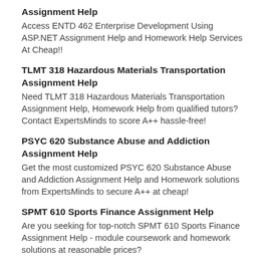Assignment Help
Access ENTD 462 Enterprise Development Using ASP.NET Assignment Help and Homework Help Services At Cheap!!
TLMT 318 Hazardous Materials Transportation Assignment Help
Need TLMT 318 Hazardous Materials Transportation Assignment Help, Homework Help from qualified tutors? Contact ExpertsMinds to score A++ hassle-free!
PSYC 620 Substance Abuse and Addiction Assignment Help
Get the most customized PSYC 620 Substance Abuse and Addiction Assignment Help and Homework solutions from ExpertsMinds to secure A++ at cheap!
SPMT 610 Sports Finance Assignment Help
Are you seeking for top-notch SPMT 610 Sports Finance Assignment Help - module coursework and homework solutions at reasonable prices?